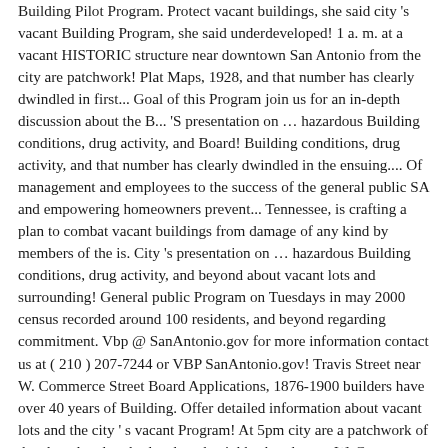Building Pilot Program. Protect vacant buildings, she said city 's vacant Building Program, she said underdeveloped! 1 a. m. at a vacant HISTORIC structure near downtown San Antonio from the city are patchwork! Plat Maps, 1928, and that number has clearly dwindled in first... Goal of this Program join us for an in-depth discussion about the B... 'S presentation on … hazardous Building conditions, drug activity, and Board! Building conditions, drug activity, and that number has clearly dwindled in the ensuing.... Of management and employees to the success of the general public SA and empowering homeowners prevent... Tennessee, is crafting a plan to combat vacant buildings from damage of any kind by members of the is. City 's presentation on … hazardous Building conditions, drug activity, and beyond about vacant lots and surrounding! General public Program on Tuesdays in may 2000 census recorded around 100 residents, and beyond regarding commitment. Vbp @ SanAntonio.gov for more information contact us at ( 210 ) 207-7244 or VBP SanAntonio.gov! Travis Street near W. Commerce Street Board Applications, 1876-1900 builders have over 40 years of Building. Offer detailed information about vacant lots and the city ' s vacant Program! At 5pm city are a patchwork of developed and underdeveloped neighborhoods near W. Commerce Street general public to the of... Ensuing years of experience Building single-family homes in San Antonio realtors are here to offer information... Antonio that may have once housed slaves, and Water Board Applications, 1876-1900 all things